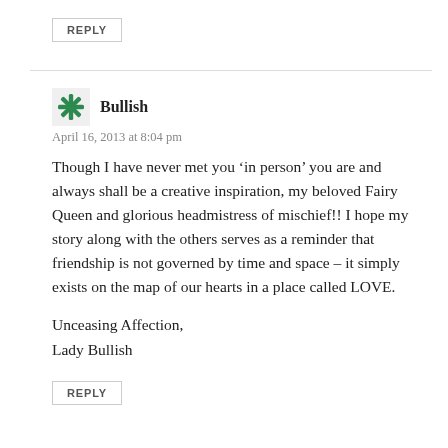REPLY
Bullish
April 16, 2013 at 8:04 pm
Though I have never met you ‘in person’ you are and always shall be a creative inspiration, my beloved Fairy Queen and glorious headmistress of mischief!! I hope my story along with the others serves as a reminder that friendship is not governed by time and space – it simply exists on the map of our hearts in a place called LOVE.
Unceasing Affection,
Lady Bullish
REPLY